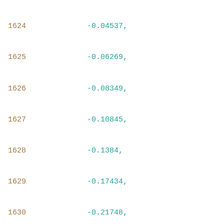Code listing lines 1624–1645 showing array data with line numbers. Lines 1624-1634 show negative decimal values ending with commas, line 1634 ends with -0.4953, line 1635 closes bracket with ],  line 1636 opens new bracket [, lines 1637-1645 show positive and small negative decimal values.